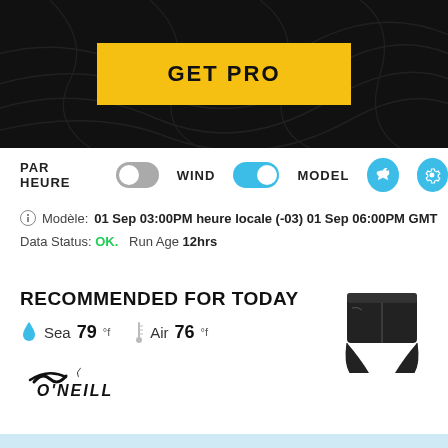[Figure (screenshot): Dark background section with topographic lines and a yellow GET PRO button]
PAR HEURE  WIND  MODEL
Modèle: 01 Sep 03:00PM heure locale (-03) 01 Sep 06:00PM GMT
Data Status: OK.  Run Age 12hrs
RECOMMENDED FOR TODAY
Sea 79 °f  Air 76°f
[Figure (logo): O'Neill brand logo]
[Figure (photo): Black board shorts product photo]